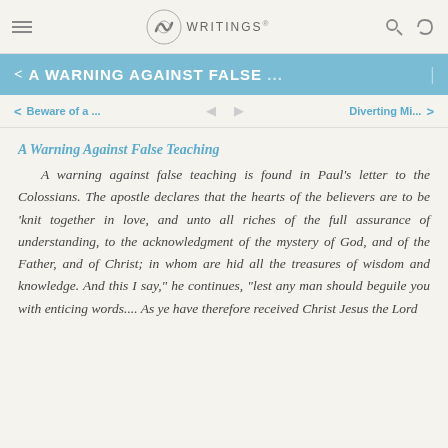EGW WRITINGS
< A WARNING AGAINST FALSE ... |
< Beware of a ...   Diverting Mi... >
A Warning Against False Teaching
A warning against false teaching is found in Paul’s letter to the Colossians. The apostle declares that the hearts of the believers are to be ‘knit together in love, and unto all riches of the full assurance of understanding, to the acknowledgment of the mystery of God, and of the Father, and of Christ; in whom are hid all the treasures of wisdom and knowledge. And this I say, he continues, lest any man should beguile you with enticing words.... As ye have therefore received Christ Jesus the Lord